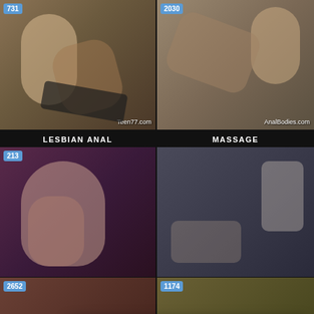[Figure (screenshot): Adult video thumbnail top-left with view count 731 and watermark Teen77.com]
[Figure (screenshot): Adult video thumbnail top-right with view count 2030 and watermark AnalBodies.com]
LESBIAN ANAL
MASSAGE
[Figure (screenshot): Advertisement popup: in case of quarantine, Advertisement, tap here to view, with biohazard icon on blue background, close X]
[Figure (screenshot): Adult video thumbnail mid-left with view count 213]
[Figure (screenshot): Adult video thumbnail mid-right]
[Figure (screenshot): WHAT DO YOU WANT? ad with WATCH button, Online indicator, three small thumbnails, text: Cumming, ass fucking, squirt or... • ADS with X close]
[Figure (screenshot): Adult video thumbnail bottom-left with view count 2652]
[Figure (screenshot): Adult video thumbnail bottom-right with view count 1174]